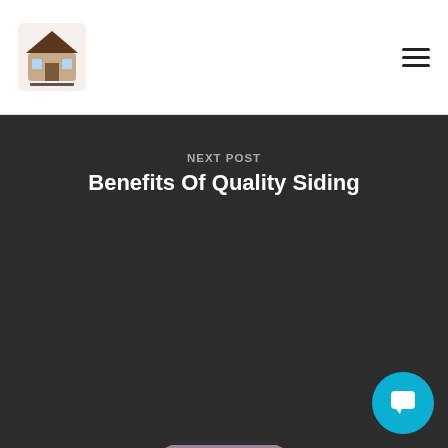Bearded Brothers Roofing logo and navigation
Next Post
Benefits Of Quality Siding
[Figure (logo): Bearded Brothers Roofing & Restoration logo featuring two bearded men in white shirts standing back to back, one wearing a yellow hard hat, over a house rooftop silhouette with the text BEARDED BROTHERS ROOFING & RESTORATION]
[Figure (other): Teal circular chat/messaging button in the bottom right corner]